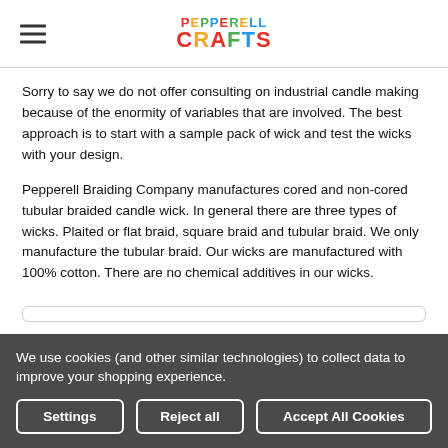PEPPERELL CRAFTS
Sorry to say we do not offer consulting on industrial candle making because of the enormity of variables that are involved. The best approach is to start with a sample pack of wick and test the wicks with your design.
Pepperell Braiding Company manufactures cored and non-cored tubular braided candle wick. In general there are three types of wicks. Plaited or flat braid, square braid and tubular braid. We only manufacture the tubular braid. Our wicks are manufactured with 100% cotton. There are no chemical additives in our wicks.
We use cookies (and other similar technologies) to collect data to improve your shopping experience.
Settings | Reject all | Accept All Cookies